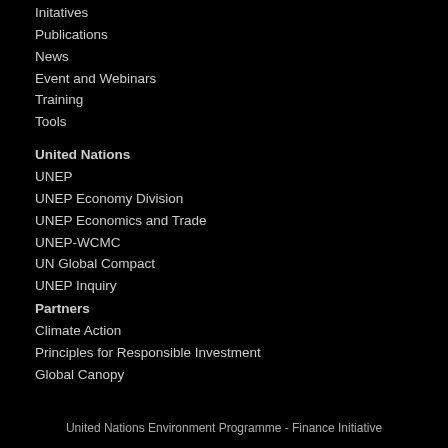Initatives
Publications
News
Event and Webinars
Training
Tools
United Nations
UNEP
UNEP Economy Division
UNEP Economics and Trade
UNEP-WCMC
UN Global Compact
UNEP Inquiry
Partners
Climate Action
Principles for Responsible Investment
Global Canopy
United Nations Environment Programme - Finance Initiative